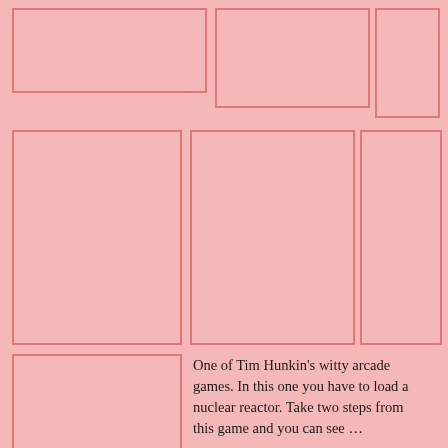[Figure (illustration): Empty pink box, top-left row, leftmost]
[Figure (illustration): Empty pink box, top-left row, middle]
[Figure (illustration): Empty pink box, top-right row, right]
[Figure (illustration): Empty pink box, second row, leftmost]
[Figure (illustration): Empty pink box, second row, second]
[Figure (illustration): Empty pink box, second row, large right]
[Figure (illustration): Empty pink box, third row left]
One of Tim Hunkin's witty arcade games. In this one you have to load a nuclear reactor. Take two steps from this game and you can see …
[Figure (illustration): Empty pink box, fourth row left]
The nuclear power stations at Sizewell
[Figure (illustration): Empty pink box, fourth row right large]
[Figure (illustration): Empty pink box, bottom row left]
[Figure (illustration): Empty pink box, bottom row middle]
[Figure (illustration): Empty pink box, bottom row right]